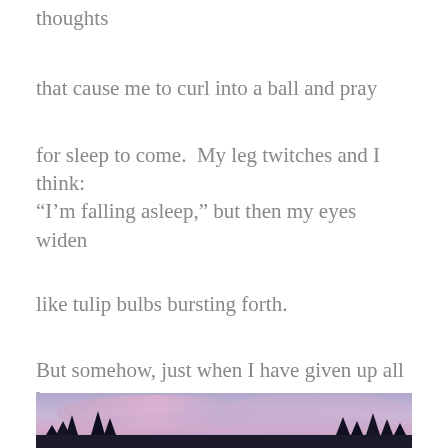thoughts
that cause me to curl into a ball and pray
for sleep to come.  My leg twitches and I think:
“I’m falling asleep,” but then my eyes widen
like tulip bulbs bursting forth.
But somehow, just when I have given up all hope,
I stop hearing or seeing or thinking.
[Figure (photo): A purple and blue sky with silhouetted trees at the bottom, dusk or dawn landscape scene.]